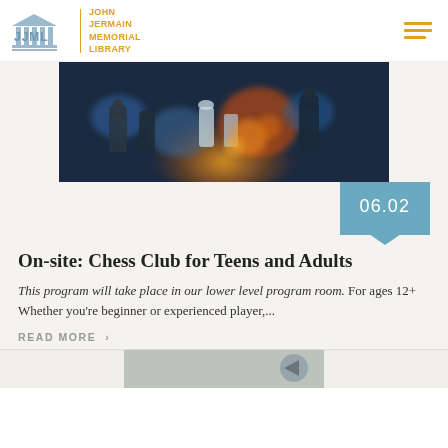JJML | JOHN JERMAIN MEMORIAL LIBRARY
[Figure (photo): Close-up photo of chess pieces on a board, with blurred colorful bokeh background in blue, orange and red tones]
06.02
On-site: Chess Club for Teens and Adults
This program will take place in our lower level program room. For ages 12+ Whether you're beginner or experienced player,...
READ MORE  ›
[Figure (photo): Partial view of another event image at the bottom of the page]